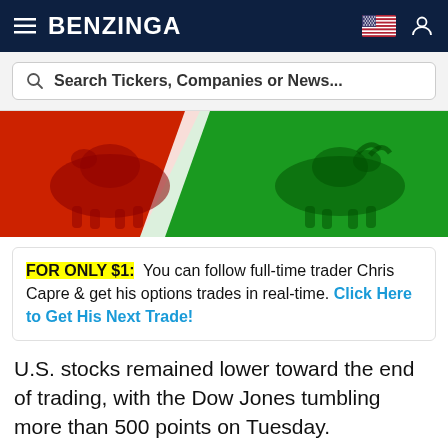BENZINGA
Search Tickers, Companies or News...
[Figure (illustration): Bull and bear market illustration with red background on the left (bear) and green background on the right (bull), separated diagonally.]
FOR ONLY $1:  You can follow full-time trader Chris Capre & get his options trades in real-time. Click Here to Get His Next Trade!
U.S. stocks remained lower toward the end of trading, with the Dow Jones tumbling more than 500 points on Tuesday.